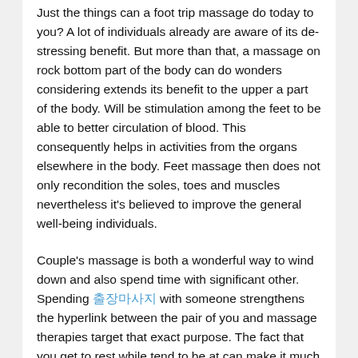Just the things can a foot trip massage do today to you? A lot of individuals already are aware of its de-stressing benefit. But more than that, a massage on rock bottom part of the body can do wonders considering extends its benefit to the upper a part of the body. Will be stimulation among the feet to be able to better circulation of blood. This consequently helps in activities from the organs elsewhere in the body. Feet massage then does not only recondition the soles, toes and muscles nevertheless it's believed to improve the general well-being individuals.
Couple's massage is both a wonderful way to wind down and also spend time with significant other. Spending 출장마사지 with someone strengthens the hyperlink between the pair of you and massage therapies target that exact purpose. The fact that you get to rest while tend to be at can make it much more special.
The truth about the massage chair is that running barefoot has been designed to imitate the strokes and techniques that a massage therapist performs anyone. It has gears and motors that drive rollers along your back to provide